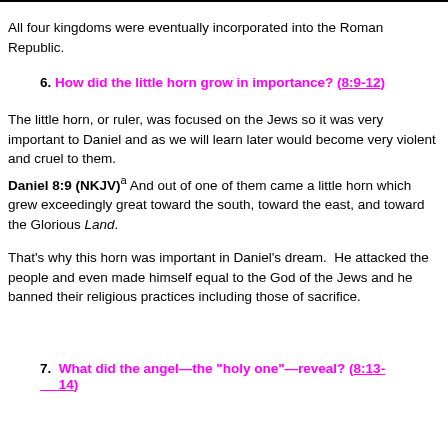All four kingdoms were eventually incorporated into the Roman Republic.
6. How did the little horn grow in importance? (8:9-12)
The little horn, or ruler, was focused on the Jews so it was very important to Daniel and as we will learn later would become very violent and cruel to them.
Daniel 8:9 (NKJV)â And out of one of them came a little horn which grew exceedingly great toward the south, toward the east, and toward the Glorious Land.
That's why this horn was important in Daniel’s dream.  He attacked the people and even made himself equal to the God of the Jews and he banned their religious practices including those of sacrifice.
7. What did the angel—the "holy one"—reveal? (8:13-14)